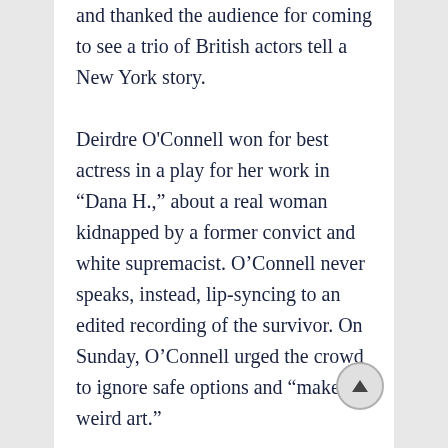and thanked the audience for coming to see a trio of British actors tell a New York story.

Deirdre O'Connell won for best actress in a play for her work in “Dana H.,” about a real woman kidnapped by a former convict and white supremacist. O'Connell never speaks, instead, lip-syncing to an edited recording of the survivor. On Sunday, O'Connell urged the crowd to ignore safe options and “make the weird art.”